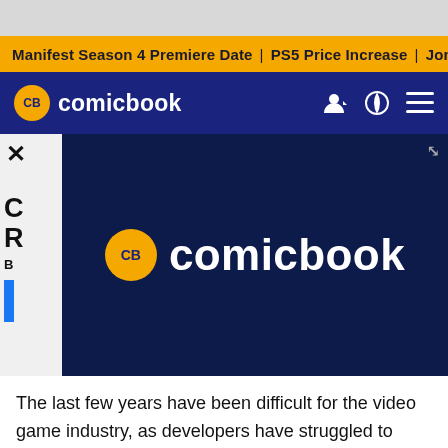Manifest Season 4 Premiere Date | PS5 Price Increase | Jon M
CB comicbook
[Figure (logo): Comicbook.com logo on dark navy background in video player panel]
C... R...
B...
The last few years have been difficult for the video game industry, as developers have struggled to adapt during the coronavirus pandemic. As a result, a number of major video